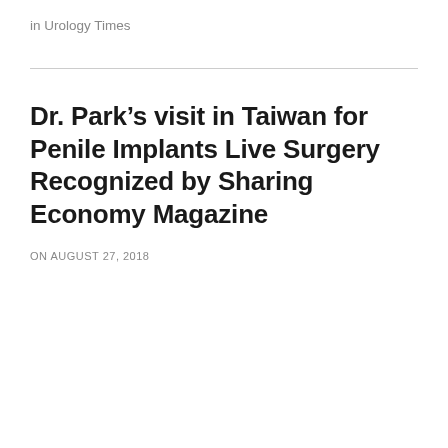in Urology Times
Dr. Park's visit in Taiwan for Penile Implants Live Surgery Recognized by Sharing Economy Magazine
ON AUGUST 27, 2018